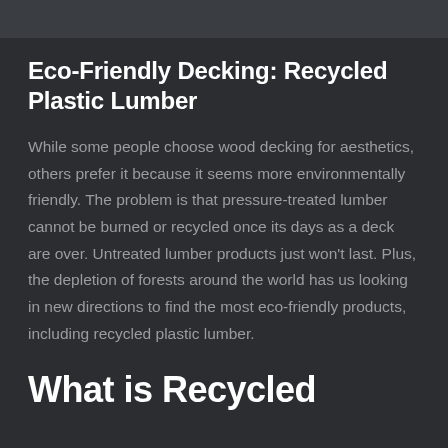[Figure (photo): Partial image strip at top of page, appears to show a deck or outdoor structure]
Eco-Friendly Decking: Recycled Plastic Lumber
While some people choose wood decking for aesthetics, others prefer it because it seems more environmentally friendly. The problem is that pressure-treated lumber cannot be burned or recycled once its days as a deck are over. Untreated lumber products just won't last. Plus, the depletion of forests around the world has us looking in new directions to find the most eco-friendly products, including recycled plastic lumber.
What is Recycled